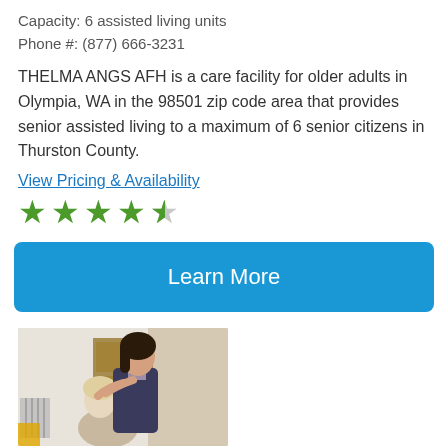Capacity: 6 assisted living units
Phone #: (877) 666-3231
THELMA ANGS AFH is a care facility for older adults in Olympia, WA in the 98501 zip code area that provides senior assisted living to a maximum of 6 senior citizens in Thurston County.
View Pricing & Availability
[Figure (other): 4.5 star rating shown as green stars (4 full green stars and 1 half green/grey star)]
[Figure (other): Blue 'Learn More' button]
[Figure (photo): Photo of a caregiver helping an older adult woman with her hair in a bathroom setting]